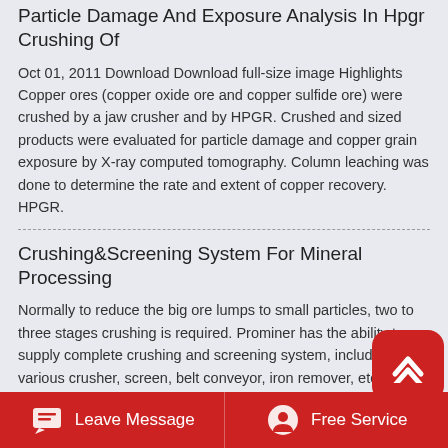Particle Damage And Exposure Analysis In Hpgr Crushing Of
Oct 01, 2011 Download Download full-size image Highlights Copper ores (copper oxide ore and copper sulfide ore) were crushed by a jaw crusher and by HPGR. Crushed and sized products were evaluated for particle damage and copper grain exposure by X-ray computed tomography. Column leaching was done to determine the rate and extent of copper recovery. HPGR.
Crushing&Screening System For Mineral Processing
Normally to reduce the big ore lumps to small particles, two to three stages crushing is required. Prominer has the ability to supply complete crushing and screening system, including various crusher, screen, belt conveyor, iron remover, etc. For minerals with different properties and hardness, we can recommend suitable crusher accordingly.
Leave Message   Free Service